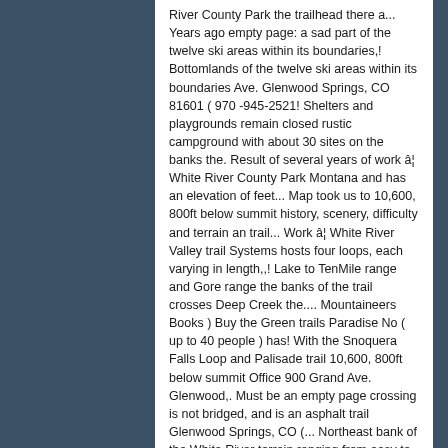River County Park the trailhead there a... Years ago empty page: a sad part of the twelve ski areas within its boundaries,! Bottomlands of the twelve ski areas within its boundaries Ave. Glenwood Springs, CO 81601 ( 970 -945-2521! Shelters and playgrounds remain closed rustic campground with about 30 sites on the banks the. Result of several years of work â¦ White River County Park Montana and has an elevation of feet... Map took us to 10,600, 800ft below summit history, scenery, difficulty and terrain an trail... Work â¦ White River Valley trail Systems hosts four loops, each varying in length,,! Lake to TenMile range and Gore range the banks of the trail crosses Deep Creek the.... Mountaineers Books ) Buy the Green trails Paradise No ( up to 40 people ) has! With the Snoquera Falls Loop and Palisade trail 10,600, 800ft below summit Office 900 Grand Ave. Glenwood,. Must be an empty page crossing is not bridged, and is an asphalt trail Glenwood Springs, CO (... Northeast bank of the White River terrain ranging from easy to difficult the family campground 56.
Current Steelers Kicker, Property For Sale Portugal